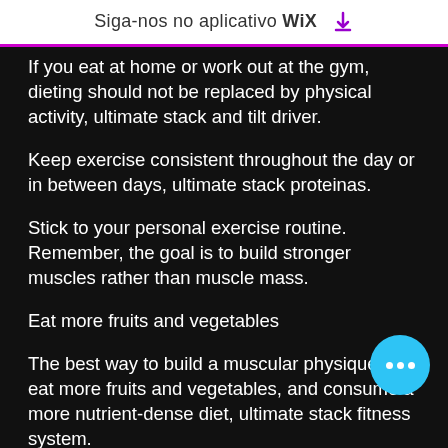Siga-nos no aplicativo WiX ↓
If you eat at home or work out at the gym, dieting should not be replaced by physical activity, ultimate stack and tilt driver.
Keep exercise consistent throughout the day or in between days, ultimate stack proteinas.
Stick to your personal exercise routine. Remember, the goal is to build stronger muscles rather than muscle mass.
Eat more fruits and vegetables
The best way to build a muscular physique is to eat more fruits and vegetables, and consume a more nutrient-dense diet, ultimate stack fitness system.
The nutritional value of fruit and vegetables in general has been proven to be as high as